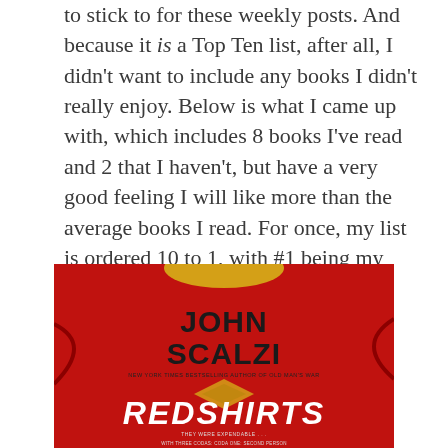to stick to for these weekly posts. And because it is a Top Ten list, after all, I didn't want to include any books I didn't really enjoy. Below is what I came up with, which includes 8 books I've read and 2 that I haven't, but have a very good feeling I will like more than the average books I read. For once, my list is ordered 10 to 1, with #1 being my favorite of all the books on the list.
[Figure (photo): Book cover of 'Redshirts' by John Scalzi. Red background with a Star Trek-style uniform shirt. Author name 'JOHN SCALZI' in large black bold text. Subtitle 'NEW YORK TIMES BESTSELLING AUTHOR OF OLD MAN'S WAR'. Title 'REDSHIRTS' in large stylized white lettering at the bottom. Small text at bottom: 'THEY WERE EXPENDABLE...' and 'WITH THREE CODAS: CODA ONE: SECOND PERSON']